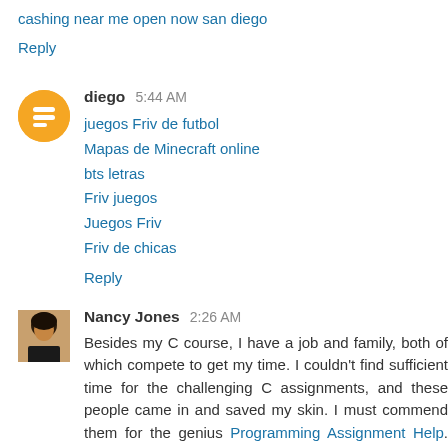cashing near me open now san diego
Reply
diego  5:44 AM
juegos Friv de futbol
Mapas de Minecraft online
bts letras
Friv juegos
Juegos Friv
Friv de chicas
Reply
Nancy Jones  2:26 AM
Besides my C course, I have a job and family, both of which compete to get my time. I couldn't find sufficient time for the challenging C assignments, and these people came in and saved my skin. I must commend them for the genius Programming Assignment Help. Their C Homework Help tutors did the best job and got me shining grades.